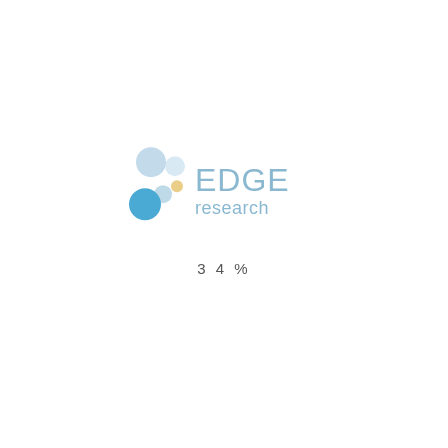[Figure (logo): EDGE research logo with colored circles (light blue, light blue smaller, gold/orange small, light blue medium, blue large) arranged to the left of the text 'EDGE research' in light blue/grey colors]
34%